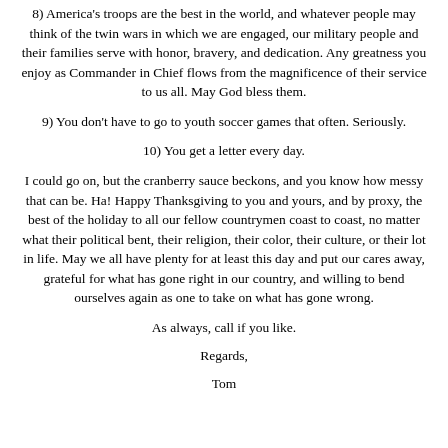8) America's troops are the best in the world, and whatever people may think of the twin wars in which we are engaged, our military people and their families serve with honor, bravery, and dedication. Any greatness you enjoy as Commander in Chief flows from the magnificence of their service to us all. May God bless them.
9) You don't have to go to youth soccer games that often. Seriously.
10) You get a letter every day.
I could go on, but the cranberry sauce beckons, and you know how messy that can be. Ha! Happy Thanksgiving to you and yours, and by proxy, the best of the holiday to all our fellow countrymen coast to coast, no matter what their political bent, their religion, their color, their culture, or their lot in life. May we all have plenty for at least this day and put our cares away, grateful for what has gone right in our country, and willing to bend ourselves again as one to take on what has gone wrong.
As always, call if you like.
Regards,
Tom